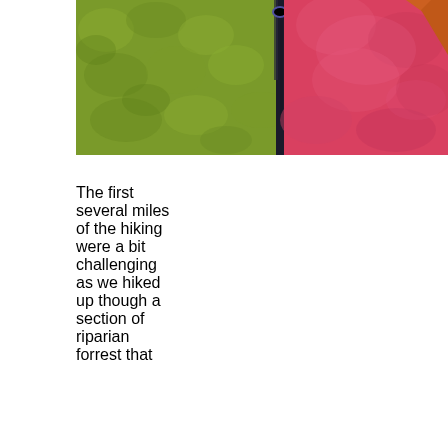[Figure (photo): Close-up photo of green and pink/red quilted sleeping bags or down jackets with a dark pole or zipper pull between them, and orange fabric visible at the top right corner.]
The first several miles of the hiking were a bit challenging as we hiked up though a section of riparian forrest that